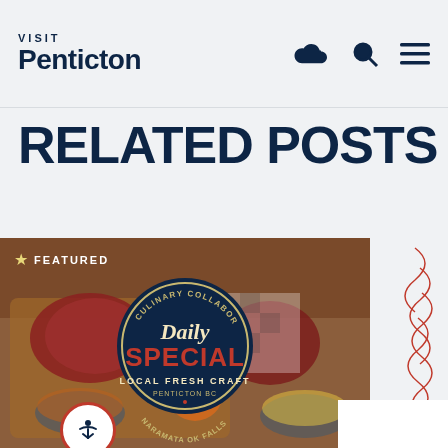Visit Penticton
RELATED POSTS
[Figure (photo): Food charcuterie board with meats, fruits, and condiments, overlaid with a circular badge reading 'Culinary Collaboration Daily Special Local Fresh Craft Penticton BC Naramata OK Falls'. A star FEATURED badge in top-left corner. Decorative red squiggle lines on right side.]